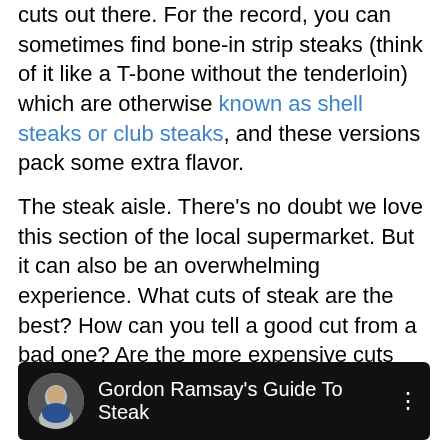cuts out there. For the record, you can sometimes find bone-in strip steaks (think of it like a T-bone without the tenderloin) which are otherwise known as shell steaks or club steaks, and these versions pack some extra flavor.
The steak aisle. There's no doubt we love this section of the local supermarket. But it can also be an overwhelming experience. What cuts of steak are the best? How can you tell a good cut from a bad one? Are the more expensive cuts really worth the cost? There's nothing better than a juicy, flavorful grilled steak.
[Figure (screenshot): YouTube video thumbnail bar showing 'Gordon Ramsay's Guide To Steak' with a circular avatar photo of Gordon Ramsay on a dark/black background.]